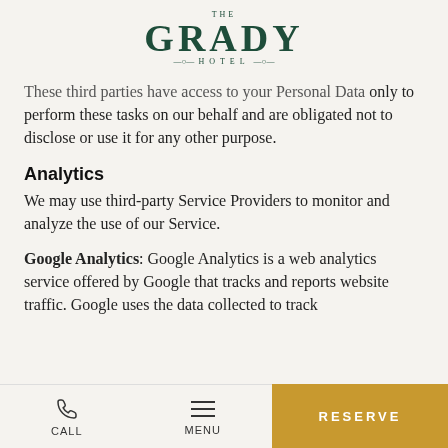THE GRADY HOTEL
These third parties have access to your Personal Data only to perform these tasks on our behalf and are obligated not to disclose or use it for any other purpose.
Analytics
We may use third-party Service Providers to monitor and analyze the use of our Service.
Google Analytics: Google Analytics is a web analytics service offered by Google that tracks and reports website traffic. Google uses the data collected to track
CALL   MENU   RESERVE